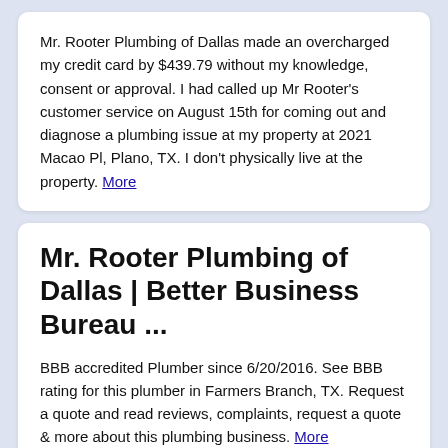Mr. Rooter Plumbing of Dallas made an overcharged my credit card by $439.79 without my knowledge, consent or approval. I had called up Mr Rooter's customer service on August 15th for coming out and diagnose a plumbing issue at my property at 2021 Macao Pl, Plano, TX. I don't physically live at the property. More
Mr. Rooter Plumbing of Dallas | Better Business Bureau ...
BBB accredited Plumber since 6/20/2016. See BBB rating for this plumber in Farmers Branch, TX. Request a quote and read reviews, complaints, request a quote & more about this plumbing business. More